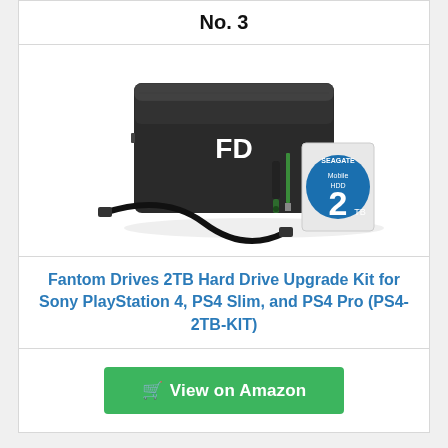No. 3
[Figure (photo): Fantom Drives 2TB Hard Drive Upgrade Kit product photo showing external HDD case with FD logo, USB cable, USB flash drive, screwdriver, and Seagate Mobile HDD 2TB drive]
Fantom Drives 2TB Hard Drive Upgrade Kit for Sony PlayStation 4, PS4 Slim, and PS4 Pro (PS4-2TB-KIT)
View on Amazon
No. 4